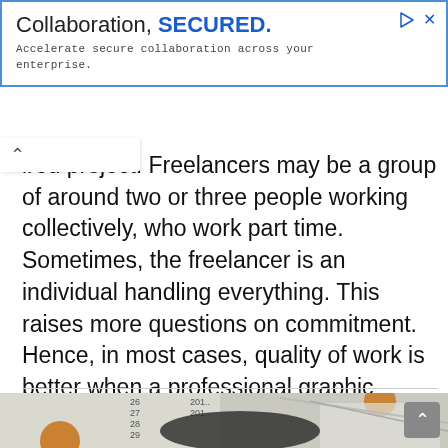[Figure (other): Advertisement banner with blue border. Title: 'Collaboration, SECURED.' with SECURED in bold blue. Subtitle: 'Accelerate secure collaboration across your enterprise.' Ad icons (triangle play button and X) in top right corner.]
ired project. Freelancers may be a group of around two or three people working collectively, who work part time. Sometimes, the freelancer is an individual handling everything. This raises more questions on commitment. Hence, in most cases, quality of work is better when a professional graphic designing company or agency is hired.
[Figure (photo): Photo showing coins, rulers, a calendar with date numbers 26-29 visible, pencils and design tools on a white surface.]